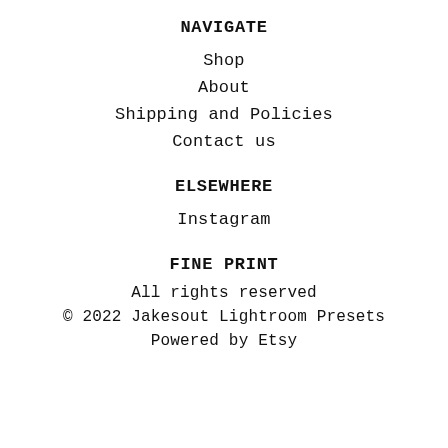NAVIGATE
Shop
About
Shipping and Policies
Contact us
ELSEWHERE
Instagram
FINE PRINT
All rights reserved
© 2022 Jakesout Lightroom Presets
Powered by Etsy